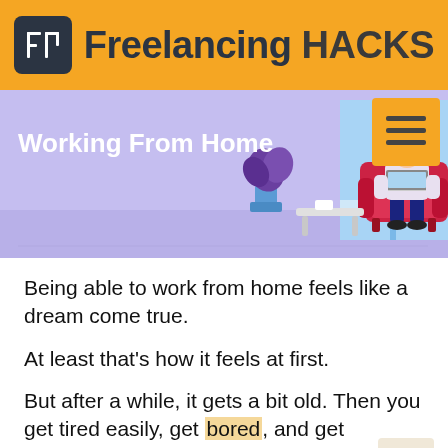Freelancing HACKS
[Figure (illustration): Hero banner illustration showing a person sitting in a red armchair working on a laptop. Background is lavender/purple. Text 'Working From Home' appears on the left in white bold font. A hamburger menu icon in an orange square appears top right. There is a plant and furniture in the scene.]
Being able to work from home feels like a dream come true.
At least that's how it feels at first.
But after a while, it gets a bit old. Then you get tired easily, get bored, and get distracted all the time.